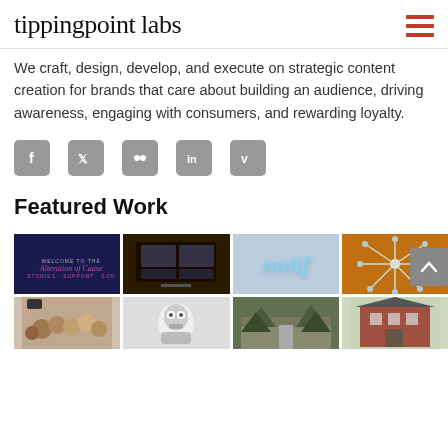tippingpoint labs
We craft, design, develop, and execute on strategic content creation for brands that care about building an audience, driving awareness, engaging with consumers, and rewarding loyalty.
[Figure (infographic): Social media icons: Facebook, Twitter, Flickr, LinkedIn, Vimeo]
Featured Work
[Figure (photo): Grid of featured work thumbnails: Alteration of Cause website, TV studio, Notif logo, flower light art, group selfie, robot/person, forest road, brick building]
[Figure (other): Scroll-up button (gray arrow up)]